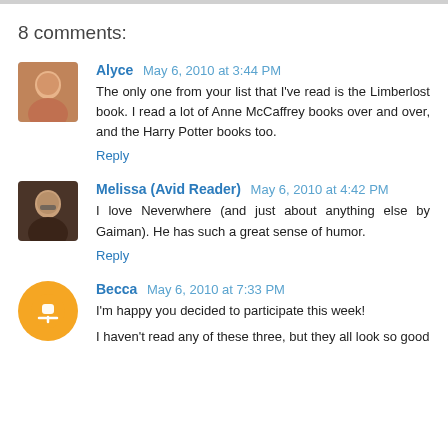8 comments:
Alyce May 6, 2010 at 3:44 PM
The only one from your list that I've read is the Limberlost book. I read a lot of Anne McCaffrey books over and over, and the Harry Potter books too.
Reply
Melissa (Avid Reader) May 6, 2010 at 4:42 PM
I love Neverwhere (and just about anything else by Gaiman). He has such a great sense of humor.
Reply
Becca May 6, 2010 at 7:33 PM
I'm happy you decided to participate this week!
I haven't read any of these three, but they all look so good